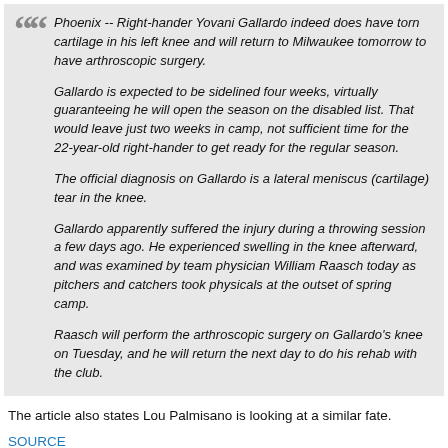Phoenix -- Right-hander Yovani Gallardo indeed does have torn cartilage in his left knee and will return to Milwaukee tomorrow to have arthroscopic surgery.

Gallardo is expected to be sidelined four weeks, virtually guaranteeing he will open the season on the disabled list. That would leave just two weeks in camp, not sufficient time for the 22-year-old right-hander to get ready for the regular season.

The official diagnosis on Gallardo is a lateral meniscus (cartilage) tear in the knee.

Gallardo apparently suffered the injury during a throwing session a few days ago. He experienced swelling in the knee afterward, and was examined by team physician William Raasch today as pitchers and catchers took physicals at the outset of spring camp.

Raasch will perform the arthroscopic surgery on Gallardo's knee on Tuesday, and he will return the next day to do his rehab with the club.
The article also states Lou Palmisano is looking at a similar fate.
SOURCE
RIP - HGF [1937-2009]